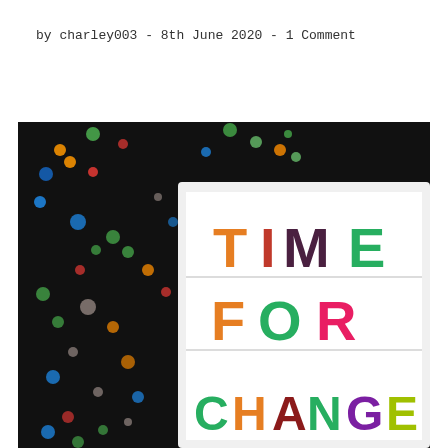by charley003  -  8th June 2020  -  1 Comment
[Figure (photo): A lightbox sign reading 'TIME FOR CHANGE' in colorful letters (orange, red, dark brown, green for TIME; orange, green, red for FOR; green, orange, dark red, green, purple, yellow-green, teal for CHANGE), set against a dark background with colorful bokeh circles of light.]